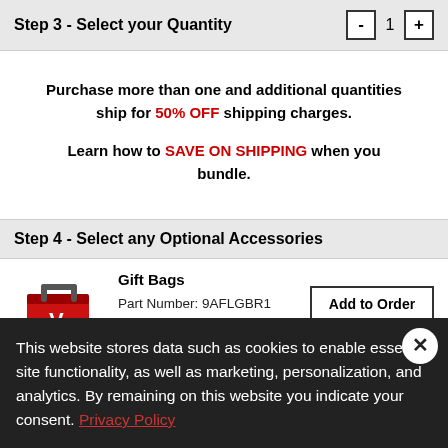Step 3 - Select your Quantity
Purchase more than one and additional quantities ship for 50% OFF shipping charges.
Learn how to SAVE ON SHIPPING when you bundle.
Step 4 - Select any Optional Accessories
Gift Bags
Part Number: 9AFLGBR1
Color: Red
Price: $29.95
Gift Bags
This website stores data such as cookies to enable essential site functionality, as well as marketing, personalization, and analytics. By remaining on this website you indicate your consent. Privacy Policy